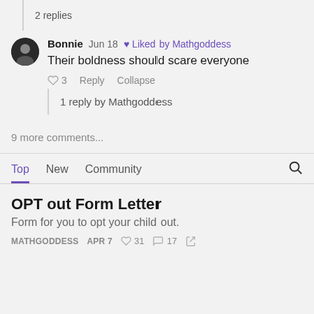2 replies
Bonnie  Jun 18  ♥ Liked by Mathgoddess
Their boldness should scare everyone
♡ 3  Reply  Collapse
1 reply by Mathgoddess
9 more comments...
Top  New  Community
OPT out Form Letter
Form for you to opt your child out.
MATHGODDESS  APR 7  ♡ 31  ○ 17  ↗